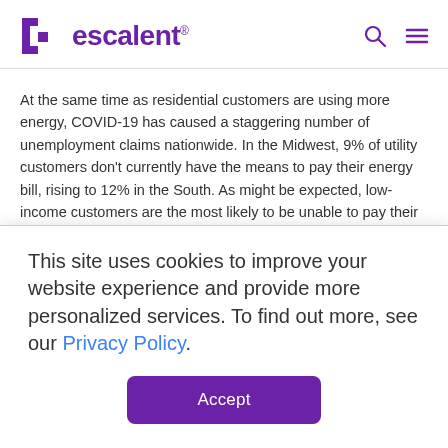escalent® [logo with search and menu icons]
At the same time as residential customers are using more energy, COVID-19 has caused a staggering number of unemployment claims nationwide. In the Midwest, 9% of utility customers don't currently have the means to pay their energy bill, rising to 12% in the South. As might be expected, low-income customers are the most likely to be unable to pay their bill right now—one in five can't. But, worryingly, even 5% of customers with a household income of over $100,000 a year don't
This site uses cookies to improve your website experience and provide more personalized services. To find out more, see our Privacy Policy.
Accept